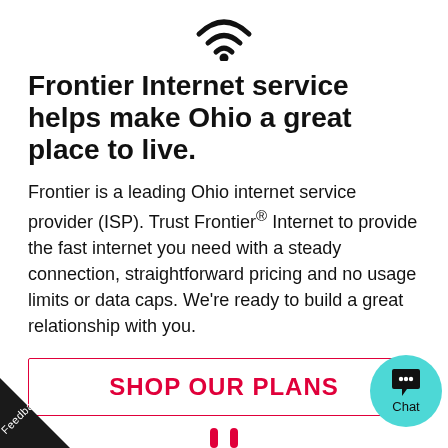[Figure (illustration): WiFi signal icon at the top of the page]
Frontier Internet service helps make Ohio a great place to live.
Frontier is a leading Ohio internet service provider (ISP). Trust Frontier® Internet to provide the fast internet you need with a steady connection, straightforward pricing and no usage limits or data caps. We're ready to build a great relationship with you.
SHOP OUR PLANS
[Figure (illustration): Teal chat bubble icon with ellipsis dots and 'Chat' label]
[Figure (illustration): Black triangle feedback tab in bottom-left corner with 'Feedback' text rotated diagonally]
[Figure (illustration): Partial red/pink icon at bottom center, partially cut off]